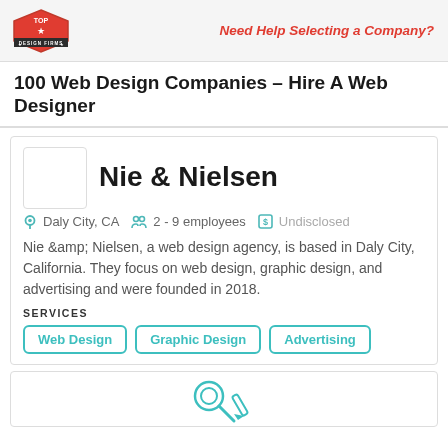[Figure (logo): Top Design Firms red hexagon logo]
Need Help Selecting a Company?
100 Web Design Companies – Hire A Web Designer
[Figure (logo): Nie & Nielsen company logo placeholder box]
Nie & Nielsen
Daly City, CA   2 - 9 employees   Undisclosed
Nie &amp; Nielsen, a web design agency, is based in Daly City, California. They focus on web design, graphic design, and advertising and were founded in 2018.
SERVICES
Web Design
Graphic Design
Advertising
[Figure (illustration): Partial teal illustration icon at bottom of page]